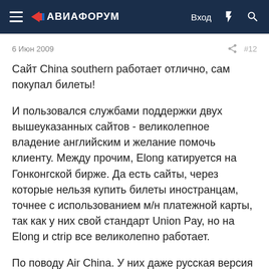АВИАФОРУМ — Вход #12
6 Июн 2009   #12
Сайт China southern работает отлично, сам покупал билеты!
И пользовался службами поддержки двух вышеуказанных сайтов - великолепное владение английским и желание помочь клиенту. Между прочим, Elong катируется на Гонконгской бирже. Да есть сайты, через которые нельзя купить билеты иностранцам, точнее с использованием м/н платежной карты, так как у них свой стандарт Union Pay, но на Elong и ctrip все великолепно работает.
По поводу Air China. У них даже русская версия сайта есть...